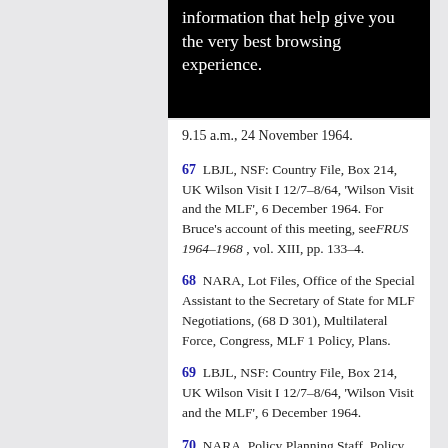[Figure (screenshot): Black banner with white text reading: 'information that help give you the very best browsing experience.']
9.15 a.m., 24 November 1964.
67  LBJL, NSF: Country File, Box 214, UK Wilson Visit I 12/7–8/64, 'Wilson Visit and the MLF', 6 December 1964. For Bruce's account of this meeting, see FRUS 1964–1968, vol. XIII, pp. 133–4.
68  NARA, Lot Files, Office of the Special Assistant to the Secretary of State for MLF Negotiations, (68 D 301), Multilateral Force, Congress, MLF 1 Policy, Plans.
69  LBJL, NSF: Country File, Box 214, UK Wilson Visit I 12/7–8/64, 'Wilson Visit and the MLF', 6 December 1964.
70  NARA, Policy Planning Staff, Policy Planning Council (71 D 382), Neustadt, Misc. Records 1959–1972.